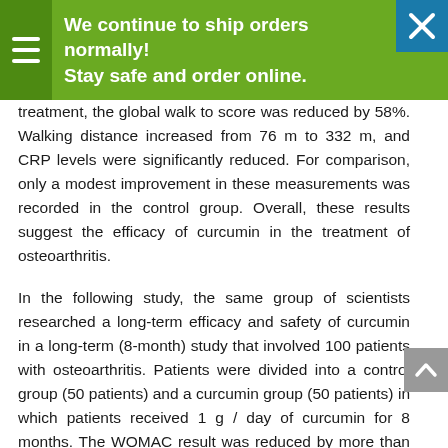We continue to ship orders normally! Stay safe and order online.
treatment, the global walk to score was reduced by 58%. Walking distance increased from 76 m to 332 m, and CRP levels were significantly reduced. For comparison, only a modest improvement in these measurements was recorded in the control group. Overall, these results suggest the efficacy of curcumin in the treatment of osteoarthritis.
In the following study, the same group of scientists researched a long-term efficacy and safety of curcumin in a long-term (8-month) study that involved 100 patients with osteoarthritis. Patients were divided into a control group (50 patients) and a curcumin group (50 patients) in which patients received 1 g / day of curcumin for 8 months. The WOMAC result was reduced by more than 50%, while walking performance increased almost three times compared to the control group.